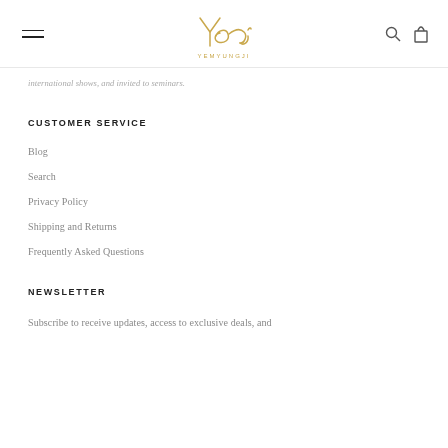YEMYUNGJI
international shows, and invited to seminars.
CUSTOMER SERVICE
Blog
Search
Privacy Policy
Shipping and Returns
Frequently Asked Questions
NEWSLETTER
Subscribe to receive updates, access to exclusive deals, and